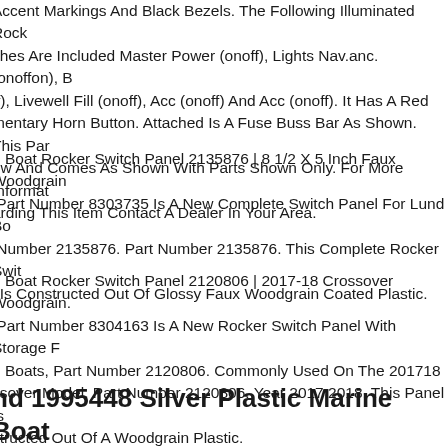Accent Markings And Black Bezels. The Following Illuminated Rock ches Are Included Master Power (onoff), Lights Nav.anc. (onoffon), B ff), Livewell Fill (onoff), Acc (onoff) And Acc (onoff). It Has A Red mentary Horn Button. Attached Is A Fuse Buss Bar As Shown. This Par ew And Comes As Shown With Parts Shown Only. For More Informat arding This Item Contact A Dealer In Your Area.
d Boat Rocker Switch Panel 2135876 | 8 1/2 X 5 Inch Faux Woodgrain Part Number 8303735 Is A New Complete Switch Panel For Lund Bo Number 2135876. Part Number 2135876. This Complete Rocker Swit l Is Constructed Out Of Glossy Faux Woodgrain Coated Plastic.
d Boat Rocker Switch Panel 2120806 | 2017-18 Crossover Woodgrain. Part Number 8304163 Is A New Rocker Switch Panel With Storage F d Boats, Part Number 2120806. Commonly Used On The 201718 ssover Model. Part Number 2120806. Year 2017 2018. This Panel Is structed Out Of A Woodgrain Plastic.
nd 1995448 Silver Plastic Marine Boat inted Rocker Switch Panel...